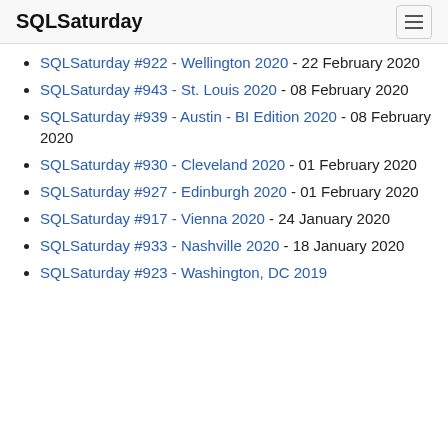SQLSaturday
SQLSaturday #922 - Wellington 2020 - 22 February 2020
SQLSaturday #943 - St. Louis 2020 - 08 February 2020
SQLSaturday #939 - Austin - BI Edition 2020 - 08 February 2020
SQLSaturday #930 - Cleveland 2020 - 01 February 2020
SQLSaturday #927 - Edinburgh 2020 - 01 February 2020
SQLSaturday #917 - Vienna 2020 - 24 January 2020
SQLSaturday #933 - Nashville 2020 - 18 January 2020
SQLSaturday #923 - Washington, DC 2019